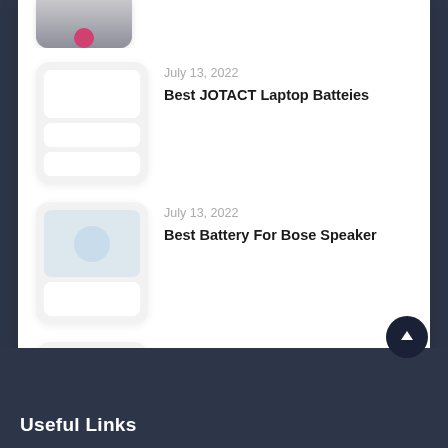[Figure (screenshot): Cropped thumbnail image of a product, partially visible at the top]
July 13, 2022
Best JOTACT Laptop Batteies
July 13, 2022
Best Battery For Bose Speaker
July 13, 2022
Best Battery for Sweeper
Useful Links